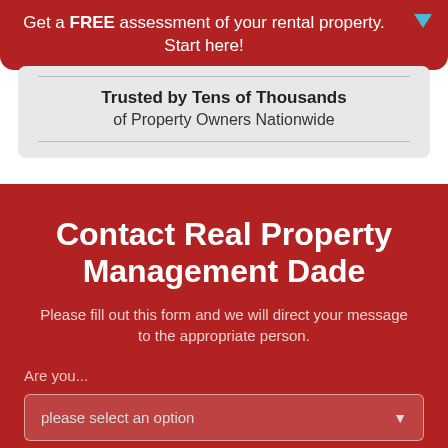Get a FREE assessment of your rental property. Start here!
Trusted by Tens of Thousands of Property Owners Nationwide
Contact Real Property Management Dade
Please fill out this form and we will direct your message to the appropriate person.
Are you...
please select an option